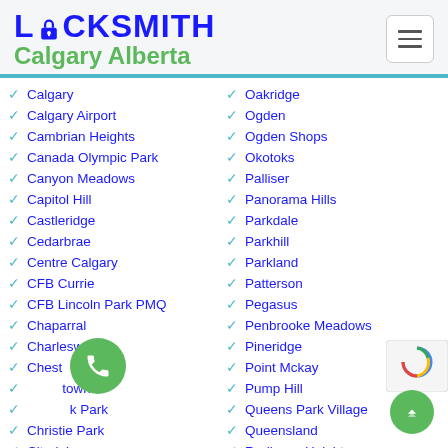LOCKSMITH Calgary Alberta
Calgary
Calgary Airport
Cambrian Heights
Canada Olympic Park
Canyon Meadows
Capitol Hill
Castleridge
Cedarbrae
Centre Calgary
CFB Currie
CFB Lincoln Park PMQ
Chaparral
Charleswood
Chestermere
Chinatown
Chinook Park
Christie Park
Citadel
Oakridge
Ogden
Ogden Shops
Okotoks
Palliser
Panorama Hills
Parkdale
Parkhill
Parkland
Patterson
Pegasus
Penbrooke Meadows
Pineridge
Point Mckay
Pump Hill
Queens Park Village
Queensland
Radisson Heights